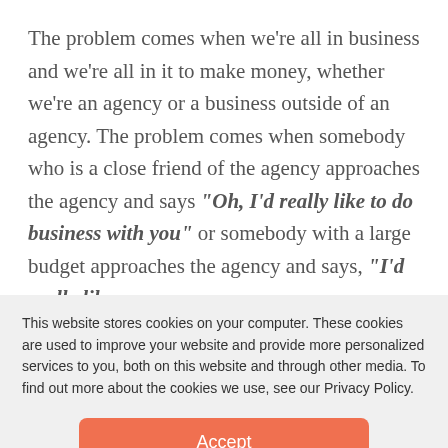The problem comes when we're all in business and we're all in it to make money, whether we're an agency or a business outside of an agency. The problem comes when somebody who is a close friend of the agency approaches the agency and says “Oh, I’d really like to do business with you” or somebody with a large budget approaches the agency and says, “I’d really like
This website stores cookies on your computer. These cookies are used to improve your website and provide more personalized services to you, both on this website and through other media. To find out more about the cookies we use, see our Privacy Policy.
Accept